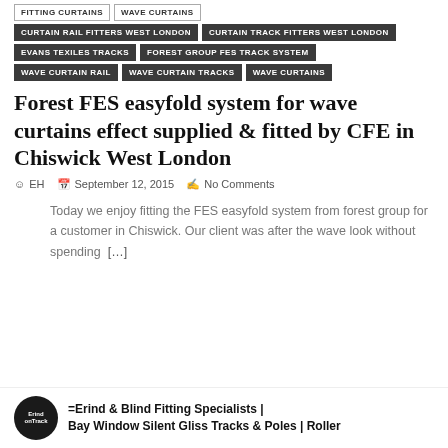FITTING CURTAINS | WAVE CURTAINS
CURTAIN RAIL FITTERS WEST LONDON | CURTAIN TRACK FITTERS WEST LONDON
EVANS TEXILES TRACKS | FOREST GROUP FES TRACK SYSTEM
WAVE CURTAIN RAIL | WAVE CURTAIN TRACKS | WAVE CURTAINS
Forest FES easyfold system for wave curtains effect supplied & fitted by CFE in Chiswick West London
EH  September 12, 2015  No Comments
Today we enjoy fitting the FES easyfold system from forest group for a customer in Chiswick. Our client was after the wave look without spending [...]
=Erind onTrack= Curtain & Blind Fitting Specialists | Bay Window Silent Gliss Tracks & Poles | Roller